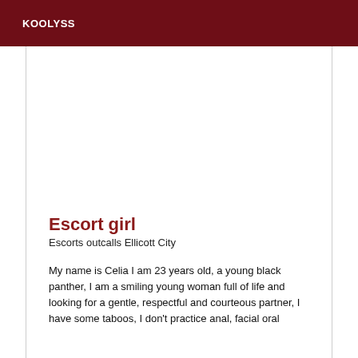KOOLYSS
[Figure (photo): Large image placeholder area (white/blank photo region)]
Escort girl
Escorts outcalls Ellicott City
My name is Celia I am 23 years old, a young black panther, I am a smiling young woman full of life and looking for a gentle, respectful and courteous partner, I have some taboos, I don't practice anal, facial oral ejaculation, nor protected intercourse. At all his...